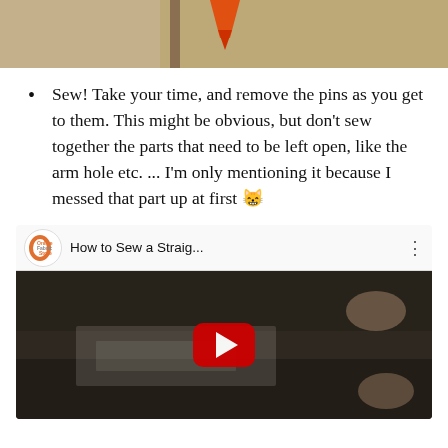[Figure (photo): Top partial photo of sewing with an orange pin visible against a brown/tan background]
Sew! Take your time, and remove the pins as you get to them. This might be obvious, but don't sew together the parts that need to be left open, like the arm hole etc. ... I'm only mentioning it because I messed that part up at first 😸
[Figure (screenshot): YouTube video thumbnail showing 'How to Sew a Straig...' from Online Fabric Store channel, with a dark video still of a sewing machine and a red YouTube play button overlay]